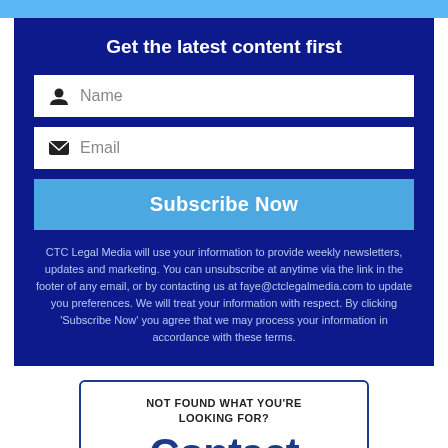Get the latest content first
[Figure (screenshot): Name input field with person icon]
[Figure (screenshot): Email input field with envelope icon]
[Figure (screenshot): Subscribe Now button in light blue]
CTC Legal Media will use your information to provide weekly newsletters, updates and marketing. You can unsubscribe at anytime via the link in the footer of any email, or by contacting us at faye@ctclegalmedia.com to update you preferences. We will treat your information with respect. By clicking 'Subscribe Now' you agree that we may process your information in accordance with these terms.
NOT FOUND WHAT YOU'RE LOOKING FOR?
Contact